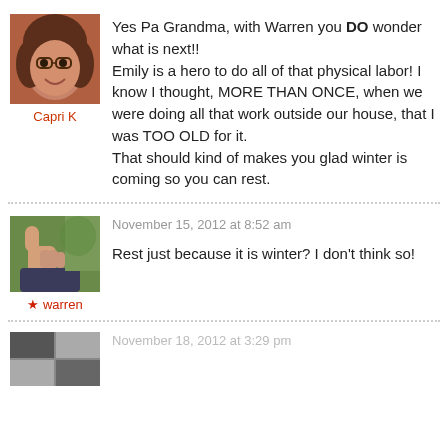[Figure (photo): Profile photo of Capri K - smiling woman with glasses and curly hair]
Capri K
Yes Pa Grandma, with Warren you DO wonder what is next!! Emily is a hero to do all of that physical labor! I know I thought, MORE THAN ONCE, when we were doing all that work outside our house, that I was TOO OLD for it. That should kind of makes you glad winter is coming so you can rest.
[Figure (photo): Profile photo of warren - thumbs up gesture outdoors]
warren
November 15, 2012 at 8:52 am
Rest just because it is winter? I don't think so!
November 18, 2012 at 3:29 pm